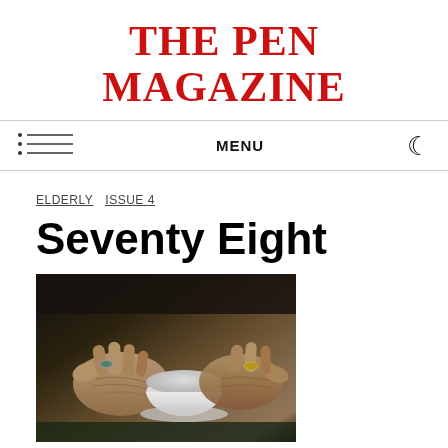THE PEN MAGAZINE
MENU
ELDERLY   ISSUE 4
Seventy Eight
[Figure (photo): Close-up photograph of elderly hands holding a white teacup/bowl, with rings on the fingers, resting on a dark surface.]